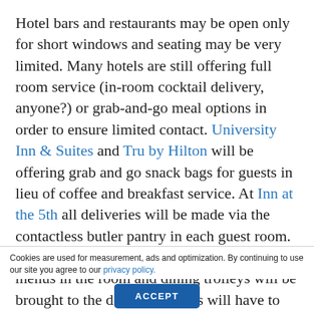Hotel bars and restaurants may be open only for short windows and seating may be very limited. Many hotels are still offering full room service (in-room cocktail delivery, anyone?) or grab-and-go meal options in order to ensure limited contact. University Inn & Suites and Tru by Hilton will be offering grab and go snack bags for guests in lieu of coffee and breakfast service. At Inn at the 5th all deliveries will be made via the contactless butler pantry in each guest room. Three Rivers Casino will not have printed menus in the room and dining trolleys will be brought to the door, but guests will have to roll them into the room themselves. Self service coffee stations and ice machines may not be operational and drinking fountains will be off limits. Contact your hotel to find out what is available.
Cookies are used for measurement, ads and optimization. By continuing to use our site you agree to our privacy policy.